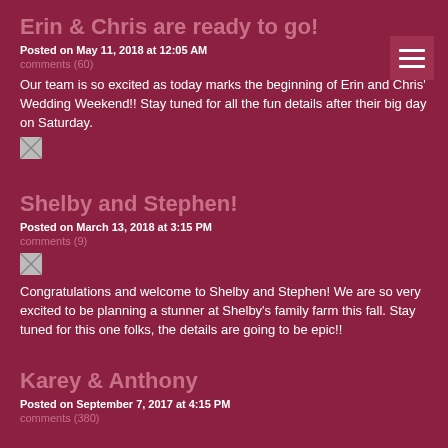Erin & Chris are ready to go!
Posted on May 11, 2018 at 12:05 AM
comments (60)
Our team is so excited as today marks the beginning of Erin and Chris' Wedding Weekend!!  Stay tuned for all the fun details after their big day on Saturday.
[Figure (photo): Broken image placeholder]
Shelby and Stephen!
Posted on March 13, 2018 at 3:15 PM
comments (9)
[Figure (photo): Broken image placeholder]
Congratulations and welcome to Shelby and Stephen!  We are so very excited to be planning a stunner at Shelby's family farm this fall.  Stay tuned for this one folks, the details are going to be epic!!
Karey & Anthony
Posted on September 7, 2017 at 4:15 PM
comments (380)